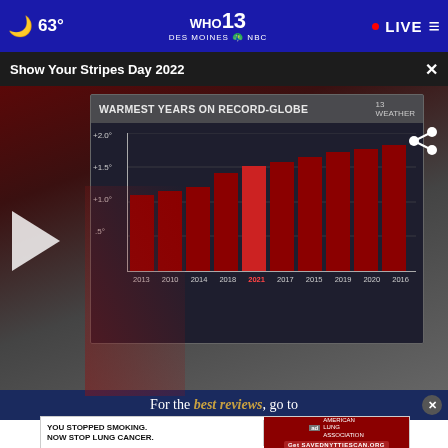63° WHO 13 DES MOINES LIVE
Show Your Stripes Day 2022
[Figure (bar-chart): WARMEST YEARS ON RECORD-GLOBE]
[Figure (screenshot): Ad banner: For the best reviews, go to]
[Figure (photo): Ad: YOU STOPPED SMOKING. NOW STOP LUNG CANCER. American Lung Association. Get SAVEDNYTTIESCAN.ORG]